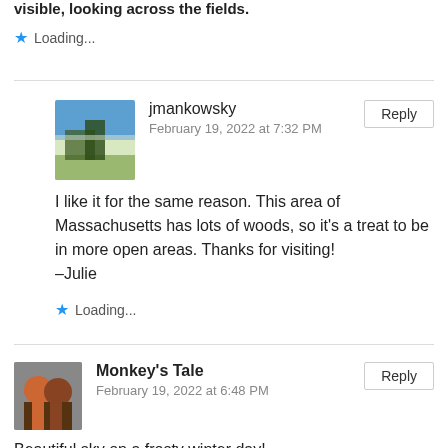visible, looking across the fields.
Loading...
jmankowsky
February 19, 2022 at 7:32 PM
I like it for the same reason. This area of Massachusetts has lots of woods, so it's a treat to be in more open areas. Thanks for visiting!
–Julie
Loading...
Monkey's Tale
February 19, 2022 at 6:48 PM
Beautiful sky on a frosty winter day!